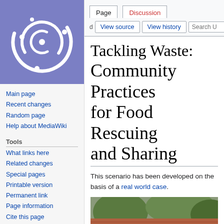[Figure (logo): MediaWiki-style circular logo with concentric rings and dots on purple/indigo background]
Main page
Recent changes
Random page
Help about MediaWiki
Tools
What links here
Related changes
Special pages
Printable version
Permanent link
Page information
Cite this page
Log in
Tackling Waste: Community Practices for Food Rescuing and Sharing
This scenario has been developed on the basis of a real world case.
[Figure (photo): Photograph of a garden structure with wooden pergola/gazebo, red tile roof overhang, climbing plants and trees]